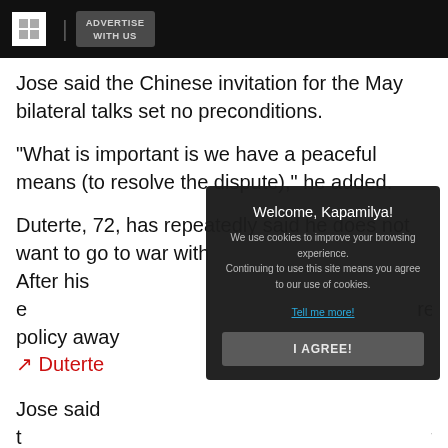ADVERTISE WITH US
Jose said the Chinese invitation for the May bilateral talks set no preconditions.
"What is important is we have a peaceful means (to resolve the dispute)," he added.
Duterte, 72, has repeatedly said he does not want to go to war with [obscured by modal]
After his e[obscured] reign policy away from [obscured] towards China.
Duterte [obscured] a, Russia
Jose said t[obscured] form" where the Philippines could raise issues like China's construction of artificial islands.
[Figure (screenshot): Cookie consent modal overlay with text 'Welcome, Kapamilya!', cookie policy notice, 'Tell me more!' link, and 'I AGREE!' button]